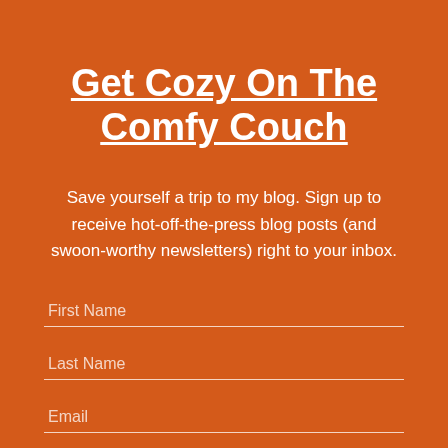Get Cozy On The Comfy Couch
Save yourself a trip to my blog. Sign up to receive hot-off-the-press blog posts (and swoon-worthy newsletters) right to your inbox.
First Name
Last Name
Email